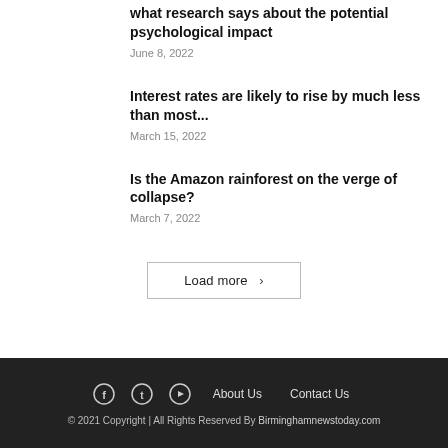what research says about the potential psychological impact
June 8, 2022
Interest rates are likely to rise by much less than most...
March 15, 2022
Is the Amazon rainforest on the verge of collapse?
March 7, 2022
Load more >
© 2021 Copyright | All Rights Reserved By Birminghamnewstoday.com